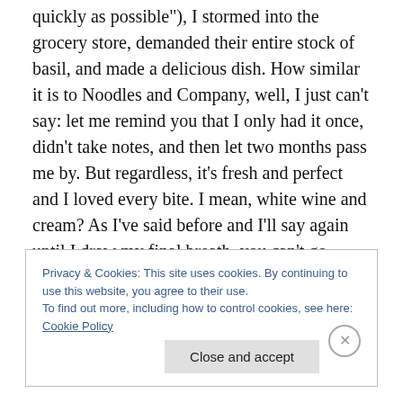quickly as possible"), I stormed into the grocery store, demanded their entire stock of basil, and made a delicious dish. How similar it is to Noodles and Company, well, I just can't say: let me remind you that I only had it once, didn't take notes, and then let two months pass me by. But regardless, it's fresh and perfect and I loved every bite. I mean, white wine and cream? As I've said before and I'll say again until I draw my final breath, you can't go wrong with those two things. Oh, and there's garlic. I'm sorry, excuse me while I step to the side and faint dead away. I love that stuff.
Privacy & Cookies: This site uses cookies. By continuing to use this website, you agree to their use. To find out more, including how to control cookies, see here: Cookie Policy